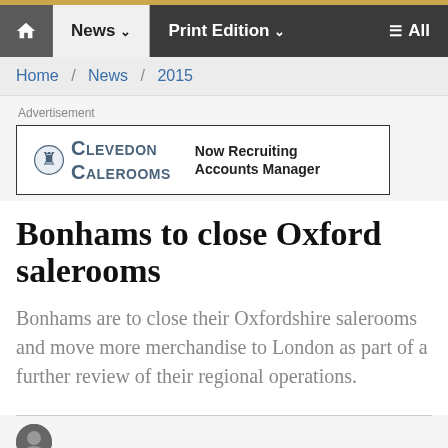News | Print Edition | All
Home / News / 2015
Advertisement
[Figure (logo): Clevedon Salerooms advertisement banner reading 'Now Recruiting Accounts Manager']
Bonhams to close Oxford salerooms
Bonhams are to close their Oxfordshire salerooms and move more merchandise to London as part of a further review of their regional operations.